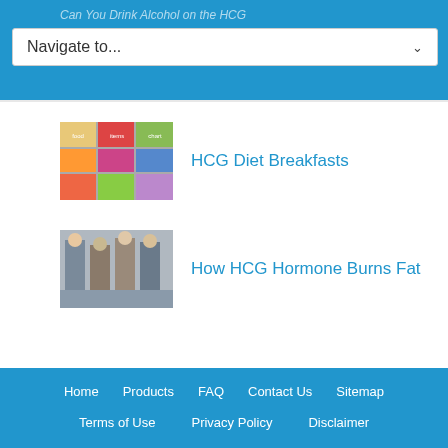Can You Drink Alcohol on the HCG Diet?
Navigate to...
[Figure (screenshot): Thumbnail image showing HCG Diet Breakfasts food chart with colorful food items]
HCG Diet Breakfasts
[Figure (photo): Thumbnail photo showing people, related to HCG hormone]
How HCG Hormone Burns Fat
Home   Products   FAQ   Contact Us   Sitemap   Terms of Use   Privacy Policy   Disclaimer   Customer Downloads